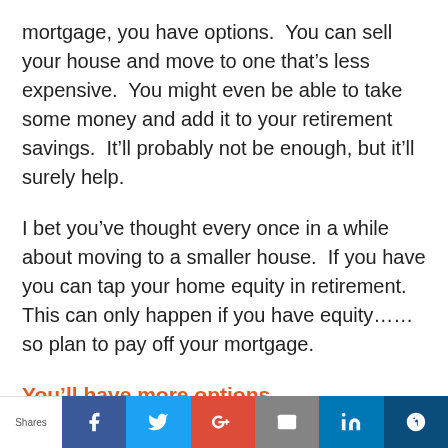mortgage, you have options.  You can sell your house and move to one that’s less expensive.  You might even be able to take some money and add it to your retirement savings.  It’ll probably not be enough, but it’ll surely help.
I bet you’ve thought every once in a while about moving to a smaller house.  If you have you can tap your home equity in retirement.  This can only happen if you have equity……so plan to pay off your mortgage.
You’ll have more options.
For me a good financial plan is about having options.
Shares | f | t | G+ | ✉ | in | ❥